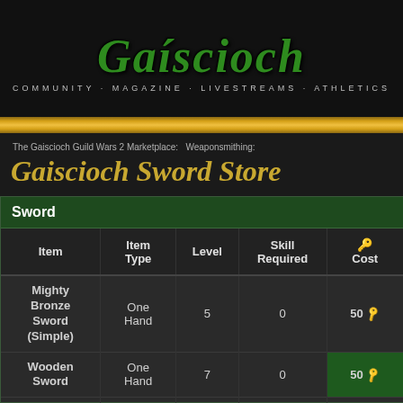[Figure (logo): Gaiscioch logo with green stylized text and subtitle: COMMUNITY MAGAZINE LIVESTREAMS ATHLETICS]
The Gaiscioch Guild Wars 2 Marketplace: Weaponsmithing:
Gaiscioch Sword Store
Sword
| Item | Item Type | Level | Skill Required | Cost |
| --- | --- | --- | --- | --- |
| Mighty Bronze Sword (Simple) | One Hand | 5 | 0 | 50 |
| Wooden Sword | One Hand | 7 | 0 | 50 |
| Vital Bronze | One |  |  |  |